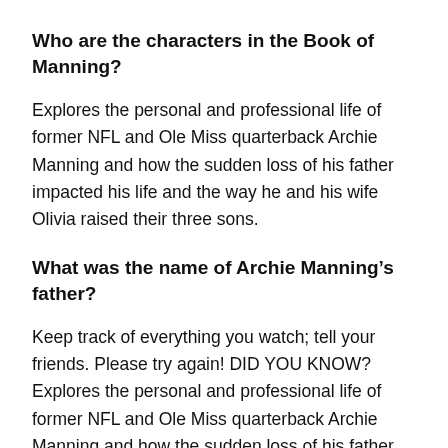Who are the characters in the Book of Manning?
Explores the personal and professional life of former NFL and Ole Miss quarterback Archie Manning and how the sudden loss of his father impacted his life and the way he and his wife Olivia raised their three sons.
What was the name of Archie Manning’s father?
Keep track of everything you watch; tell your friends. Please try again! DID YOU KNOW? Explores the personal and professional life of former NFL and Ole Miss quarterback Archie Manning and how the sudden loss of his father impacted his life and the way he and